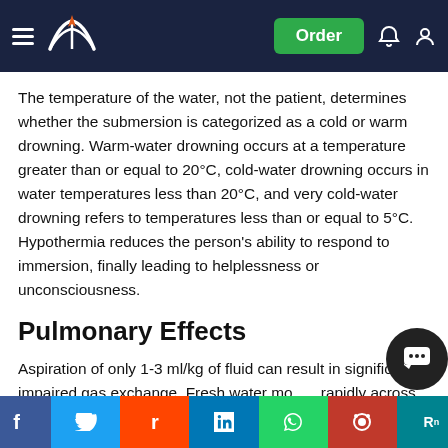Navigation header with logo, Order button, bell and user icons
The temperature of the water, not the patient, determines whether the submersion is categorized as a cold or warm drowning. Warm-water drowning occurs at a temperature greater than or equal to 20°C, cold-water drowning occurs in water temperatures less than 20°C, and very cold-water drowning refers to temperatures less than or equal to 5°C. Hypothermia reduces the person's ability to respond to immersion, finally leading to helplessness or unconsciousness.
Pulmonary Effects
Aspiration of only 1-3 ml/kg of fluid can result in significantly impaired gas exchange. Fresh water moves rapidly across the alveolar-capillary membrane into the microcirculation, destroys surfactant, producing increased